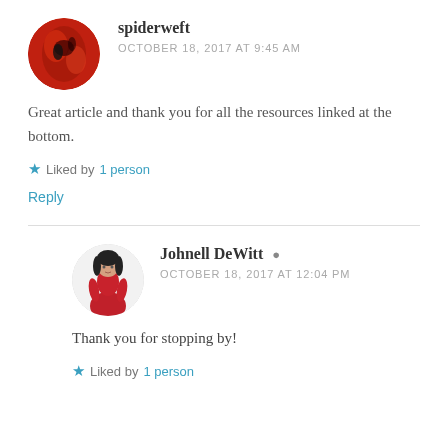[Figure (photo): Round avatar of user spiderweft, showing a red and dark floral or abstract image]
spiderweft
OCTOBER 18, 2017 AT 9:45 AM
Great article and thank you for all the resources linked at the bottom.
Liked by 1 person
Reply
[Figure (photo): Round avatar of Johnell DeWitt, a woman in a red outfit against a light background]
Johnell DeWitt
OCTOBER 18, 2017 AT 12:04 PM
Thank you for stopping by!
Liked by 1 person